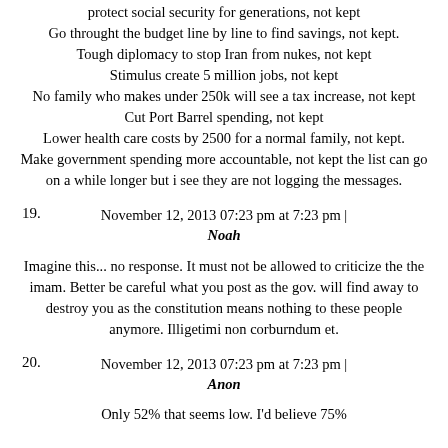protect social security for generations, not kept
Go throught the budget line by line to find savings, not kept.
Tough diplomacy to stop Iran from nukes, not kept
Stimulus create 5 million jobs, not kept
No family who makes under 250k will see a tax increase, not kept
Cut Port Barrel spending, not kept
Lower health care costs by 2500 for a normal family, not kept.
Make government spending more accountable, not kept the list can go on a while longer but i see they are not logging the messages.
November 12, 2013 07:23 pm at 7:23 pm | Noah
19.
Imagine this... no response. It must not be allowed to criticize the the imam. Better be careful what you post as the gov. will find away to destroy you as the constitution means nothing to these people anymore. Illigetimi non corburndum et.
November 12, 2013 07:23 pm at 7:23 pm | Anon
20.
Only 52% that seems low. I'd believe 75%